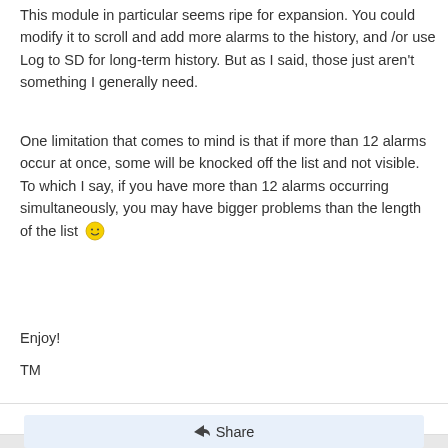This module in particular seems ripe for expansion. You could modify it to scroll and add more alarms to the history, and /or use Log to SD for long-term history. But as I said, those just aren't something I generally need.
One limitation that comes to mind is that if more than 12 alarms occur at once, some will be knocked off the list and not visible. To which I say, if you have more than 12 alarms occurring simultaneously, you may have bigger problems than the length of the list 🙂
Enjoy!
TM
Report Entry
Share